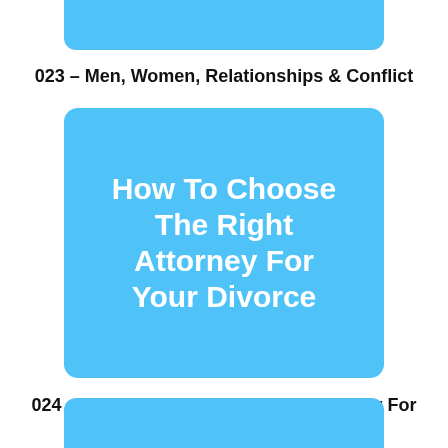[Figure (illustration): Blue rounded rectangle box partially visible at top of page]
023 - Men, Women, Relationships & Conflict
[Figure (illustration): Blue rounded rectangle box with white bold text: How To Choose The Right Attorney For Your Divorce]
024 - How To Choose The Right Attorney For Your Divorce.
[Figure (illustration): Blue rounded rectangle box partially visible at bottom of page]